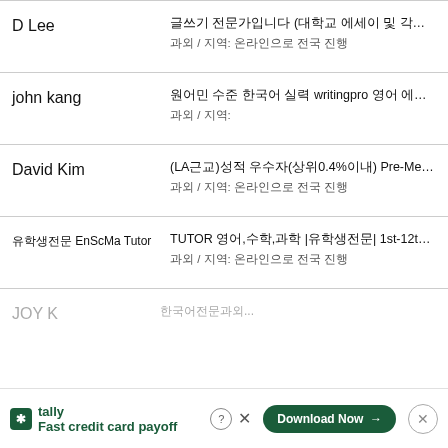D Lee — 글쓰기 전문가입니다 (대학교 에세이 및 각종 글쓰기 전문적으로 가르침) / 영/미/사 전문 과외 / 지역: 온라인으로 전국 진행
john kang — 원어민 수준 한국어 실력 writingpro 영어 에세이 전문가, 수학, 물리 전문 과외입니다. 최상 성적으로 목표를 / 지역:
David Kim — (LA근교)성적 우수자(상위0.4%이내) Pre-Medicine 전공, Physics,Math. / 지역: 온라인으로 전국 진행
유학생전문 EnScMa Tutor — TUTOR 영어,수학,과학 |유학생전문| 1st-12th,College,Adult -Study w / 지역: 온라인으로 전국 진행
JOY K — ...